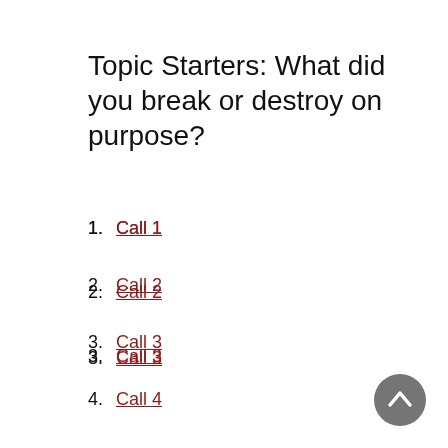Topic Starters: What did you break or destroy on purpose?
1. Call 1
2. Call 2
3. Call 3
4. Call 4
5. Call 5
[Figure (other): Back to top button — circular grey button with upward chevron arrow]